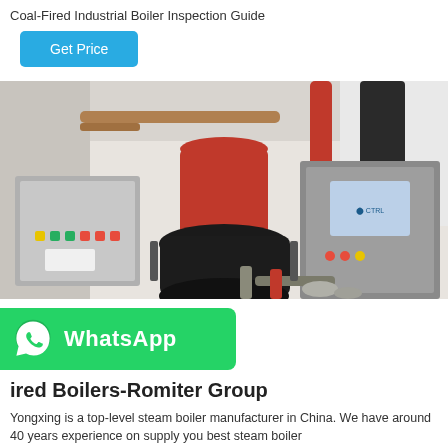Coal-Fired Industrial Boiler Inspection Guide
Get Price
[Figure (photo): Industrial boiler equipment with a red cylindrical component on top, black boiler body, connected pipes and exhaust stacks, with electrical control panels on left and right sides, in an industrial facility.]
WhatsApp
ired Boilers-Romiter Group
Yongxing is a top-level steam boiler manufacturer in China. We have around 40 years experience on supply you best steam boiler